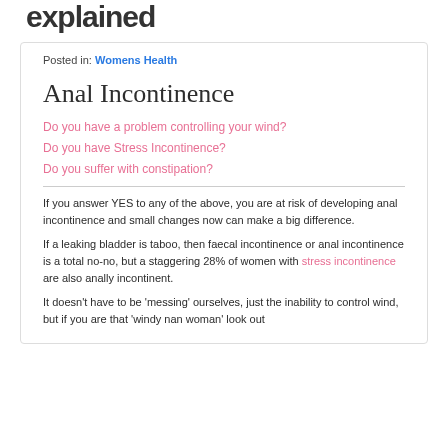explained
Posted in: Womens Health
Anal Incontinence
Do you have a problem controlling your wind?
Do you have Stress Incontinence?
Do you suffer with constipation?
If you answer YES to any of the above, you are at risk of developing anal incontinence and small changes now can make a big difference.
If a leaking bladder is taboo, then faecal incontinence or anal incontinence is a total no-no, but a staggering 28% of women with stress incontinence are also anally incontinent.
It doesn't have to be 'messing' ourselves, just the inability to control wind, but if you are that 'windy nan woman' look out